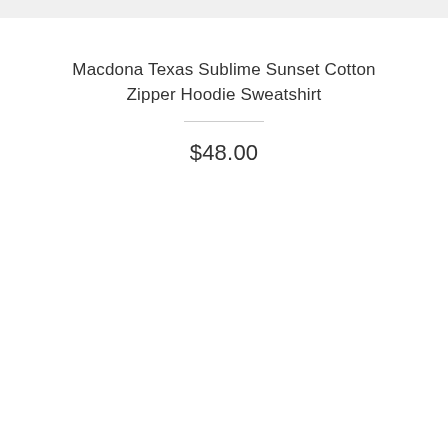Macdona Texas Sublime Sunset Cotton Zipper Hoodie Sweatshirt
$48.00